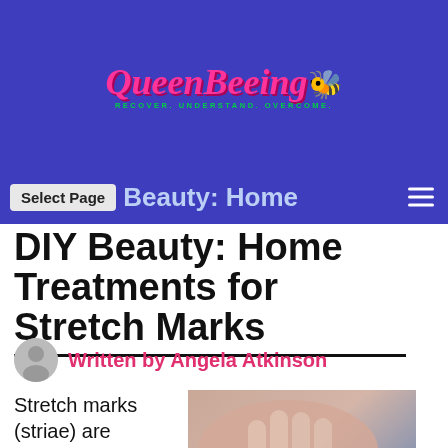[Figure (logo): QueenBeeing logo with pink cursive text, bee character, and subtitle 'RECOVER. UNDERSTAND. OVERCOME.']
Select Page | DIY Beauty: Home
DIY Beauty: Home Treatments for Stretch Marks
Written by Angela Atkinson
Stretch marks (striae) are relatively
[Figure (photo): Close-up photo of a person's abdomen showing stretch marks, with hands visible]